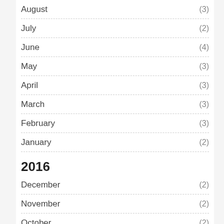August (3)
July (2)
June (4)
May (3)
April (3)
March (3)
February (3)
January (2)
2016
December (2)
November (2)
October (2)
September (2)
August (2)
July (2)
June (2)